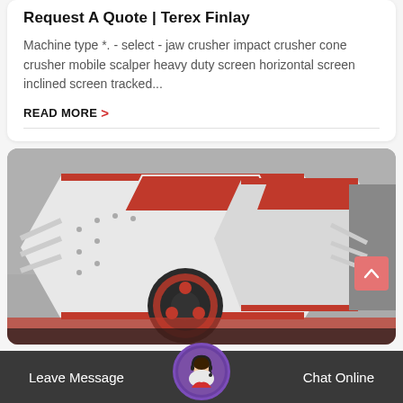Request A Quote | Terex Finlay
Machine type *. - select - jaw crusher impact crusher cone crusher mobile scalper heavy duty screen horizontal screen inclined screen tracked...
READ MORE >
[Figure (photo): Photo of white and red industrial impact crushers lined up in a row, showing the heavy machinery with red-rimmed flywheel and angular housing panels.]
Leave Message
Chat Online